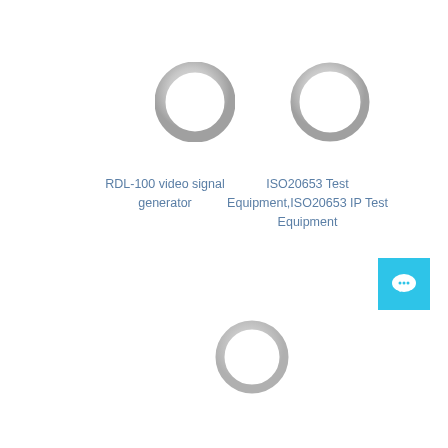[Figure (illustration): Gray circular ring icon (top-left), representing RDL-100 video signal generator product]
RDL-100 video signal generator
[Figure (illustration): Gray circular ring icon (top-right), representing ISO20653 Test Equipment]
ISO20653 Test Equipment,ISO20653 IP Test Equipment
[Figure (illustration): Gray circular ring icon (bottom-center), representing another product]
[Figure (other): Cyan/blue square chat button with speech bubble icon]